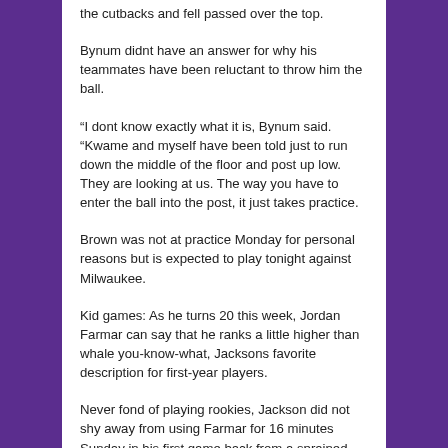the cutbacks and fell passed over the top.
Bynum didnt have an answer for why his teammates have been reluctant to throw him the ball.
“I dont know exactly what it is, Bynum said. “Kwame and myself have been told just to run down the middle of the floor and post up low. They are looking at us. The way you have to enter the ball into the post, it just takes practice.
Brown was not at practice Monday for personal reasons but is expected to play tonight against Milwaukee.
Kid games: As he turns 20 this week, Jordan Farmar can say that he ranks a little higher than whale you-know-what, Jacksons favorite description for first-year players.
Never fond of playing rookies, Jackson did not shy away from using Farmar for 16 minutes Sunday in his first game back from a sprained ankle. Farmar finished with 11 points and hit three 3-pointers.